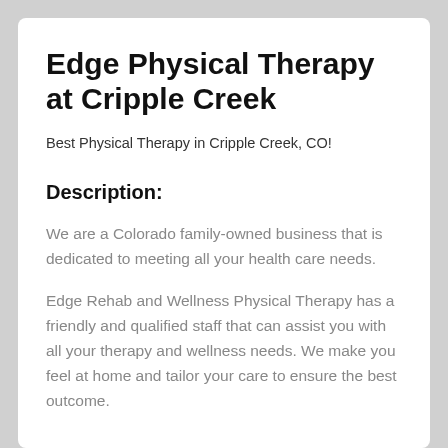Edge Physical Therapy at Cripple Creek
Best Physical Therapy in Cripple Creek, CO!
Description:
We are a Colorado family-owned business that is dedicated to meeting all your health care needs.
Edge Rehab and Wellness Physical Therapy has a friendly and qualified staff that can assist you with all your therapy and wellness needs. We make you feel at home and tailor your care to ensure the best outcome.